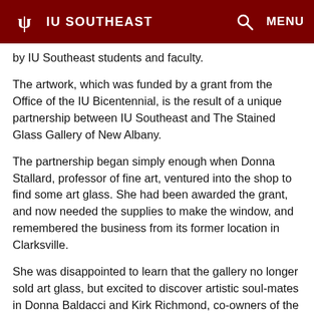IU SOUTHEAST
by IU Southeast students and faculty.
The artwork, which was funded by a grant from the Office of the IU Bicentennial, is the result of a unique partnership between IU Southeast and The Stained Glass Gallery of New Albany.
The partnership began simply enough when Donna Stallard, professor of fine art, ventured into the shop to find some art glass. She had been awarded the grant, and now needed the supplies to make the window, and remembered the business from its former location in Clarksville.
She was disappointed to learn that the gallery no longer sold art glass, but excited to discover artistic soul-mates in Donna Baldacci and Kirk Richmond, co-owners of the gallery, who offered